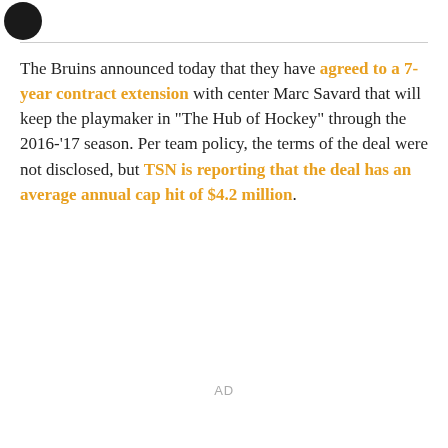[Figure (logo): Dark circular logo in top left corner]
The Bruins announced today that they have agreed to a 7-year contract extension with center Marc Savard that will keep the playmaker in "The Hub of Hockey" through the 2016-'17 season. Per team policy, the terms of the deal were not disclosed, but TSN is reporting that the deal has an average annual cap hit of $4.2 million.
AD